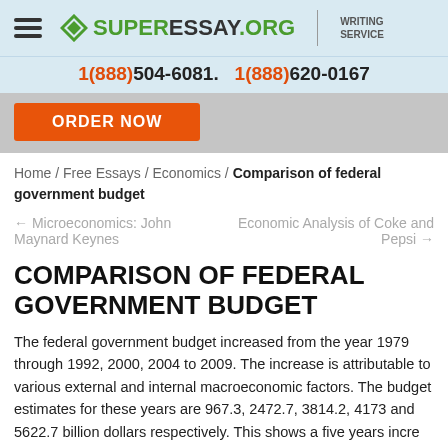SUPERESSAY.ORG WRITING SERVICE | 1(888)504-6081 . 1(888)620-0167
ORDER NOW
Home / Free Essays / Economics / Comparison of federal government budget
← Microeconomics: John Maynard Keynes       Economic Analysis of Coke and Pepsi →
COMPARISON OF FEDERAL GOVERNMENT BUDGET
The federal government budget increased from the year 1979 through 1992, 2000, 2004 to 2009. The increase is attributable to various external and internal macroeconomic factors. The budget estimates for these years are 967.3, 2472.7, 3814.2, 4173 and 5622.7 billion dollars respectively. This shows a five years increase in budget. The main components of government spending are